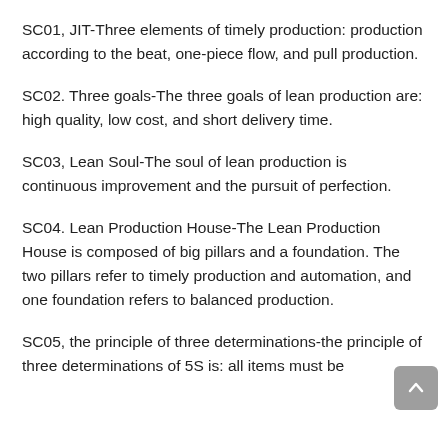SC01, JIT-Three elements of timely production: production according to the beat, one-piece flow, and pull production.
SC02. Three goals-The three goals of lean production are: high quality, low cost, and short delivery time.
SC03, Lean Soul-The soul of lean production is continuous improvement and the pursuit of perfection.
SC04. Lean Production House-The Lean Production House is composed of big pillars and a foundation. The two pillars refer to timely production and automation, and one foundation refers to balanced production.
SC05, the principle of three determinations-the principle of three determinations of 5S is: all items must be…